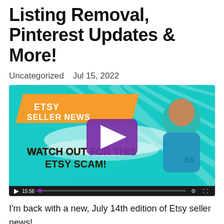Listing Removal, Pinterest Updates & More!
Uncategorized    Jul 15, 2022
[Figure (screenshot): YouTube-style video thumbnail and player showing 'Etsy Seller News - Watch Out For This Etsy Scam!' with a bald bearded man in a teal shirt, teal background, orange banner, purple play button overlay, and video controls showing 15:56 duration.]
I'm back with a new, July 14th edition of Etsy seller news!